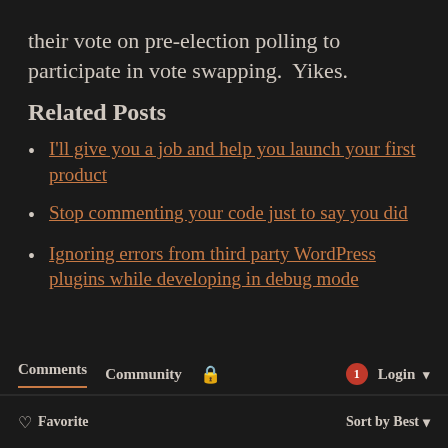their vote on pre-election polling to participate in vote swapping.  Yikes.
Related Posts
I'll give you a job and help you launch your first product
Stop commenting your code just to say you did
Ignoring errors from third party WordPress plugins while developing in debug mode
Comments   Community   [lock]   1   Login   Favorite   Sort by Best